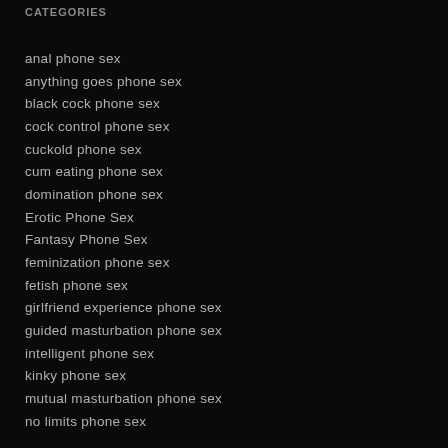CATEGORIES
anal phone sex
anything goes phone sex
black cock phone sex
cock control phone sex
cuckold phone sex
cum eating phone sex
domination phone sex
Erotic Phone Sex
Fantasy Phone Sex
feminization phone sex
fetish phone sex
girlfriend experience phone sex
guided masturbation phone sex
intelligent phone sex
kinky phone sex
mutual masturbation phone sex
no limits phone sex